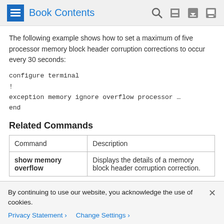Book Contents
The following example shows how to set a maximum of five processor memory block header corruption corrections to occur every 30 seconds:
Related Commands
| Command | Description |
| --- | --- |
| show memory overflow | Displays the details of a memory block header corruption correction. |
By continuing to use our website, you acknowledge the use of cookies.
Privacy Statement > Change Settings >